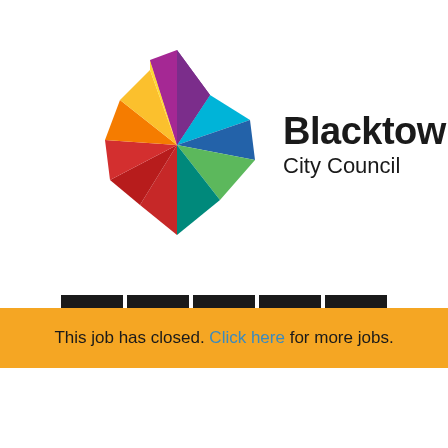[Figure (logo): Blacktown City Council logo with multicolored star/pinwheel shape and bold text 'Blacktown City Council']
[Figure (infographic): Row of five social media sharing icons: Facebook, Twitter, LinkedIn, Email, Google — white icons on black square backgrounds]
This job has closed. Click here for more jobs.